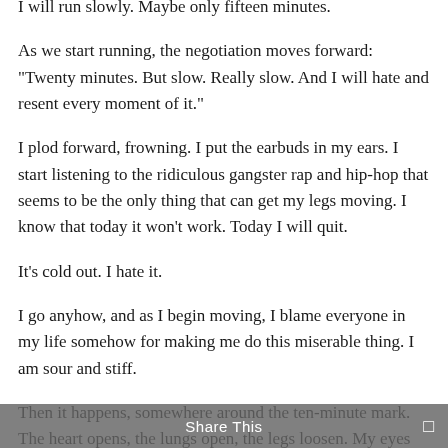I will run slowly. Maybe only fifteen minutes.

As we start running, the negotiation moves forward: "Twenty minutes. But slow. Really slow. And I will hate and resent every moment of it."

I plod forward, frowning. I put the earbuds in my ears. I start listening to the ridiculous gangster rap and hip-hop that seems to be the only thing that can get my legs moving. I know that today it won't work. Today I will quit.

It's cold out. I hate it.

I go anyhow, and as I begin moving, I blame everyone in my life somehow for making me do this miserable thing. I am sour and stiff.

Then it happens, somewhere around the ten-minute mark. The heart opens, the lungs open, the legs loosen. My eyes suddenly get marked by these little tears of gratitude and awareness: I AM ALIVE. I get to
Share This